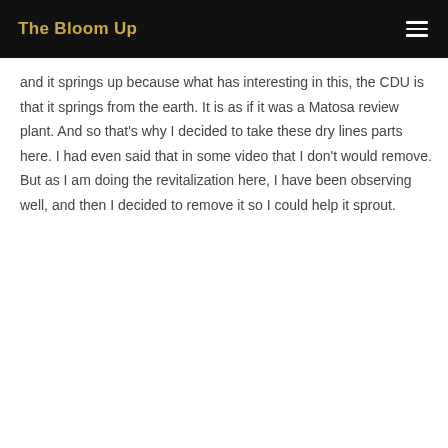The Bloom Up
and it springs up because what has interesting in this, the CDU is that it springs from the earth. It is as if it was a Matosa review plant. And so that’s why I decided to take these dry lines parts here. I had even said that in some video that I don’t would remove. But as I am doing the revitalization here, I have been observing well, and then I decided to remove it so I could help it sprout.